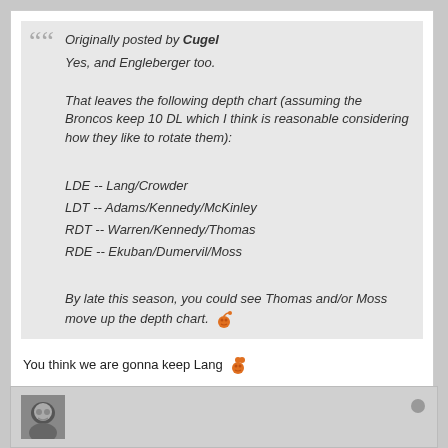Originally posted by Cugel
Yes, and Engleberger too.

That leaves the following depth chart (assuming the Broncos keep 10 DL which I think is reasonable considering how they like to rotate them):

LDE -- Lang/Crowder
LDT -- Adams/Kennedy/McKinley
RDT -- Warren/Kennedy/Thomas
RDE -- Ekuban/Dumervil/Moss

By late this season, you could see Thomas and/or Moss move up the depth chart.
You think we are gonna keep Lang
I really think we will keep Engelburger for special teams,but their is no need for Lang. Moss,Crowder,and Dumervill can do what Lang can do.It will surprise me if Lang stays.You could be right though
[Figure (illustration): Partial avatar image at bottom of page]